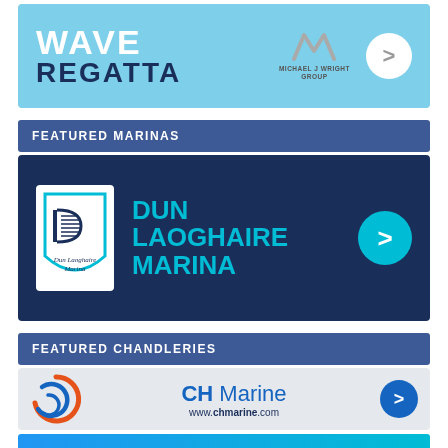[Figure (logo): Wave Regatta banner with Michael J Wright Group logo and arrow button on light blue background]
FEATURED MARINAS
[Figure (logo): Dun Laoghaire Marina banner on dark navy background with marina logo and cyan arrow button]
FEATURED CHANDLERIES
[Figure (logo): CH Marine banner with logo and www.chmarine.com on grey background with blue arrow button]
[Figure (photo): Partial bottom banner with blue/teal background, partially visible]